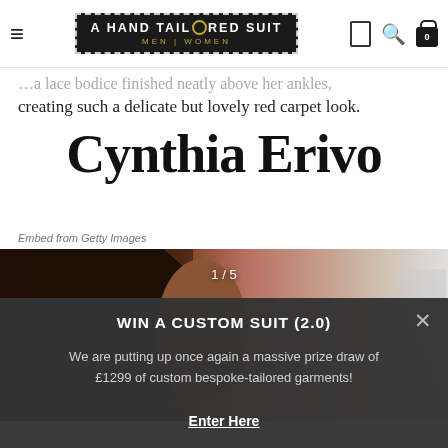A HAND TAILORED SUIT — MEN | WOMEN
...creating such a delicate but lovely red carpet look.
Cynthia Erivo
Embed from Getty Images
[Figure (photo): Photo of Cynthia Erivo, showing 1/5 image counter overlay]
WIN A CUSTOM SUIT (2.0)
We are putting up once again a massive prize draw of £1299 of custom bespoke-tailored garments!

Enter Here